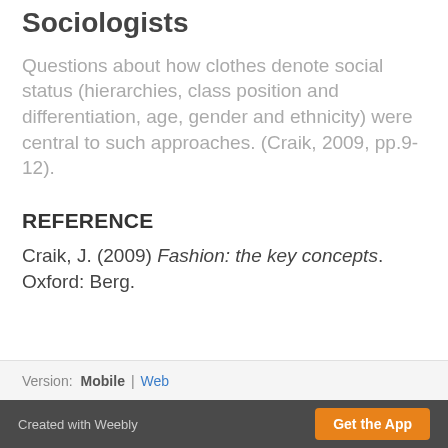Sociologists
Questions about how clothes denote social status (hierarchies, class position and differentiation, age, gender and ethnicity) were central to such approaches. (Craik, 2009, pp.9-12).
REFERENCE
Craik, J. (2009) Fashion: the key concepts. Oxford: Berg.
Version: Mobile | Web
Created with Weebly  Get the App